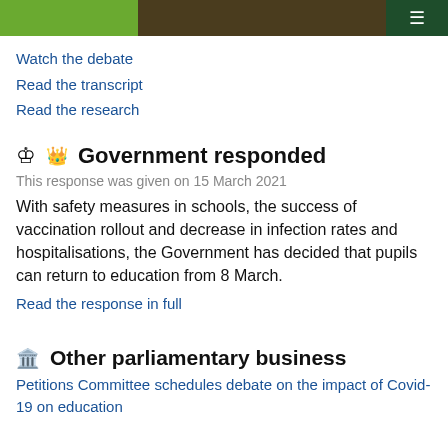[Figure (photo): Top banner image with green, dark/brown, and dark green sections representing a parliamentary scene]
Watch the debate
Read the transcript
Read the research
Government responded
This response was given on 15 March 2021
With safety measures in schools, the success of vaccination rollout and decrease in infection rates and hospitalisations, the Government has decided that pupils can return to education from 8 March.
Read the response in full
Other parliamentary business
Petitions Committee schedules debate on the impact of Covid-19 on education